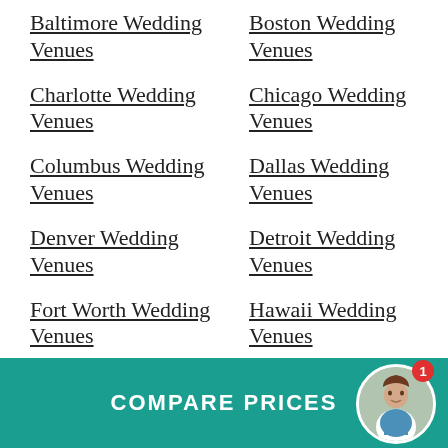Baltimore Wedding Venues
Boston Wedding Venues
Charlotte Wedding Venues
Chicago Wedding Venues
Columbus Wedding Venues
Dallas Wedding Venues
Denver Wedding Venues
Detroit Wedding Venues
Fort Worth Wedding Venues
Hawaii Wedding Venues
Houston Wedding
Indianapolis Wedding
COMPARE PRICES